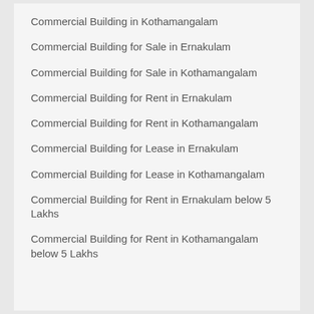Commercial Building in Kothamangalam
Commercial Building for Sale in Ernakulam
Commercial Building for Sale in Kothamangalam
Commercial Building for Rent in Ernakulam
Commercial Building for Rent in Kothamangalam
Commercial Building for Lease in Ernakulam
Commercial Building for Lease in Kothamangalam
Commercial Building for Rent in Ernakulam below 5 Lakhs
Commercial Building for Rent in Kothamangalam below 5 Lakhs